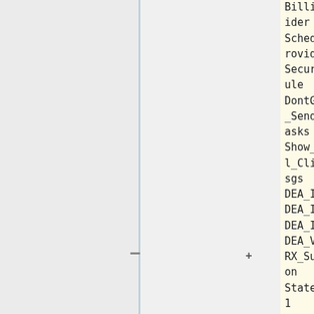| Column 1 | Column 2 |
| --- | --- |
| Billing_Provider | DEA_IV |
| Scheduling_Provider | DEA_V |
| Secure_Schedule | RX_Supervision |
| PCP | StateLicense1 |
| DontGenerate_SendChargeTasks | LicenseNumber1 |
| Show_Optional_Clinical_Msgs | LicExpDate1 |
| DEA_II | StateLicense2 |
| DEA_III | LicenseNumber2 |
| DEA_IV | LicExpDate2 |
| DEA_V | StateLicense3 |
| RX_Supervision | LicenseNumber3 |
| StateLicense1 | LicExpDate3 |
| LicenseNumber1 | Outbound_Dictate_ID |
|  | RecordingFor... |